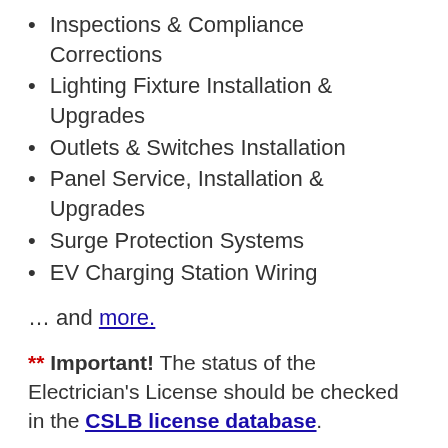Inspections & Compliance Corrections
Lighting Fixture Installation & Upgrades
Outlets & Switches Installation
Panel Service, Installation & Upgrades
Surge Protection Systems
EV Charging Station Wiring
… and more.
** Important! The status of the Electrician's License should be checked in the CSLB license database.